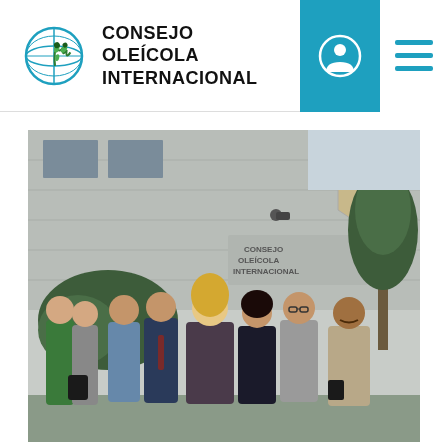CONSEJO OLEÍCOLA INTERNACIONAL
[Figure (photo): Group of approximately 9 people posing in front of a stone building with text 'CONSEJO OLEÍCOLA INTERNACIONAL' visible. Trees and shrubs are visible in the background. The group includes men and women dressed in business and casual attire.]